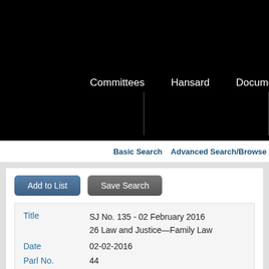Committees   Hansard   Documents
Basic Search   Advanced Search/Browse
Add to List   Save Search
| Field | Value |
| --- | --- |
| Title | SJ No. 135 - 02 February 2016
26 Law and Justice—Family Law |
| Date | 02-02-2016 |
| Parl No. | 44 |